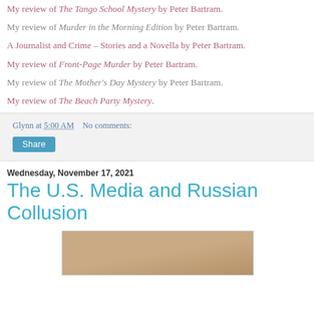My review of The Tango School Mystery by Peter Bartram.
My review of Murder in the Morning Edition by Peter Bartram.
A Journalist and Crime – Stories and a Novella by Peter Bartram.
My review of Front-Page Murder by Peter Bartram.
My review of The Mother's Day Mystery by Peter Bartram.
My review of The Beach Party Mystery.
Glynn at 5:00 AM    No comments:
Share
Wednesday, November 17, 2021
The U.S. Media and Russian Collusion
[Figure (photo): A partial photo showing a light brown/tan paper or parchment textured surface, cropped at the bottom of the page.]